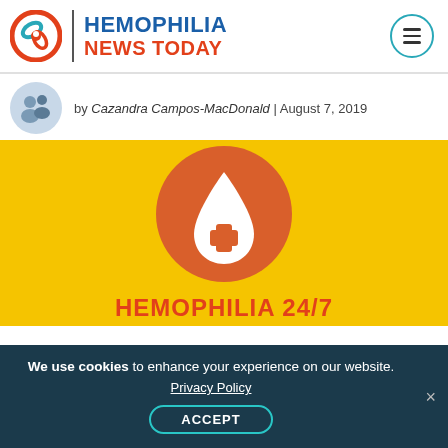[Figure (logo): Hemophilia News Today website logo with red/orange circular icon, vertical divider, blue 'HEMOPHILIA' text and red 'NEWS TODAY' text, teal hamburger menu button on right]
by Cazandra Campos-MacDonald | August 7, 2019
[Figure (illustration): Yellow background image with a large orange circle containing a white blood drop icon with a white medical cross. Red bold text 'HEMOPHILIA 24/7' at bottom.]
We use cookies to enhance your experience on our website. Privacy Policy ACCEPT